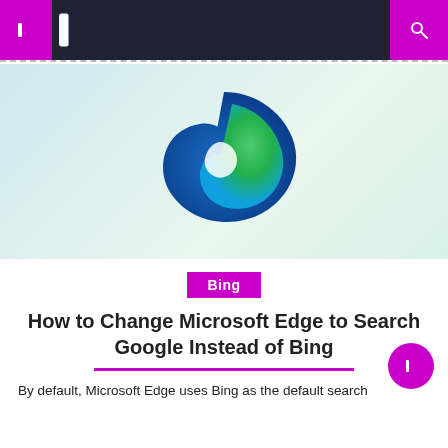Navigation bar with menu icons and search
[Figure (logo): Microsoft Edge browser logo on a light blue-green gradient background]
Bing
How to Change Microsoft Edge to Search Google Instead of Bing
By default, Microsoft Edge uses Bing as the default search